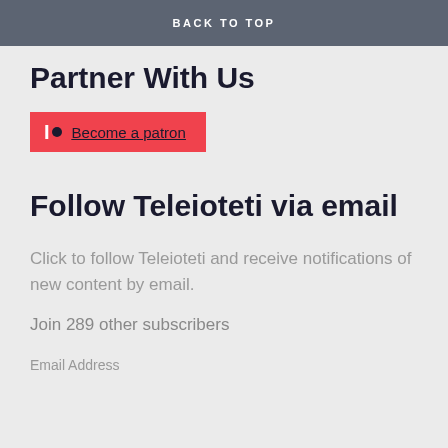BACK TO TOP
Partner With Us
[Figure (other): Patreon button with logo icon and 'Become a patron' link text on red background]
Follow Teleioteti via email
Click to follow Teleioteti and receive notifications of new content by email.
Join 289 other subscribers
Email Address